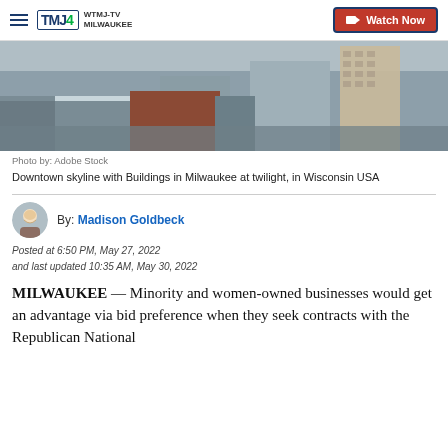WTMJ-TV Milwaukee | Watch Now
[Figure (photo): Aerial/elevated view of downtown Milwaukee skyline with buildings and streets]
Photo by: Adobe Stock
Downtown skyline with Buildings in Milwaukee at twilight, in Wisconsin USA
By: Madison Goldbeck
Posted at 6:50 PM, May 27, 2022
and last updated 10:35 AM, May 30, 2022
MILWAUKEE — Minority and women-owned businesses would get an advantage via bid preference when they seek contracts with the Republican National